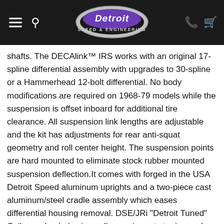Detroit Speed & Engineering — navigation header
shafts. The DECAlink™ IRS works with an original 17-spline differential assembly with upgrades to 30-spline or a Hammerhead 12-bolt differential. No body modifications are required on 1968-79 models while the suspension is offset inboard for additional tire clearance. All suspension link lengths are adjustable and the kit has adjustments for rear anti-squat geometry and roll center height. The suspension points are hard mounted to eliminate stock rubber mounted suspension deflection.It comes with forged in the USA Detroit Speed aluminum uprights and a two-piece cast aluminum/steel cradle assembly which eases differential housing removal. DSE/JRi "Detroit Tuned" Coilover shocks/springs allow spring rate tuning and ride height adjustments. The kit includes a rear anti-roll bar and uses OEM cross-axis pivot bushings at all pivot points. The kit also includes Torrington bearings and a spanner tool for easy spring height adjustments.Base ShockThe DSE/JRi 'Detroit